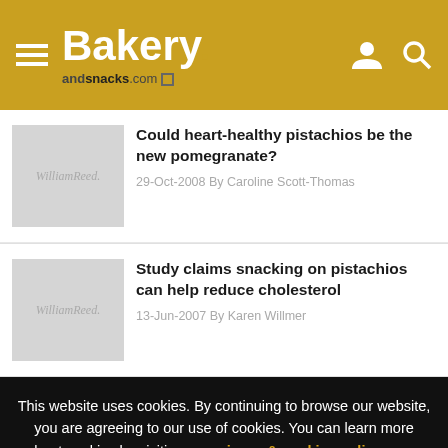Bakery andsnacks.com
[Figure (screenshot): Thumbnail placeholder image with WilliamReed. branding for article 1]
Could heart-healthy pistachios be the new pomegranate?
29-Oct-2008 By Caroline Scott-Thomas
[Figure (screenshot): Thumbnail placeholder image with WilliamReed. branding for article 2]
Study claims snacking on pistachios can help reduce cholesterol
13-Jun-2007 By Karen Willmer
This website uses cookies. By continuing to browse our website, you are agreeing to our use of cookies. You can learn more about cookies by visiting our privacy & cookies policy page.
I Agree